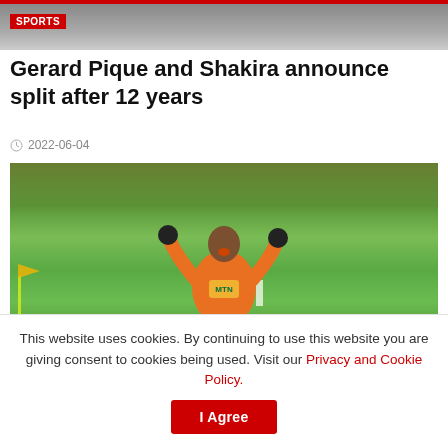SPORTS
Gerard Pique and Shakira announce split after 12 years
2022-06-04
[Figure (photo): Football/soccer player in orange jersey celebrating on the ground on a grass field, with crowd in background. Photo credit: FootyGhana / www.footy-ghana.com]
This website uses cookies. By continuing to use this website you are giving consent to cookies being used. Visit our Privacy and Cookie Policy.
I Agree